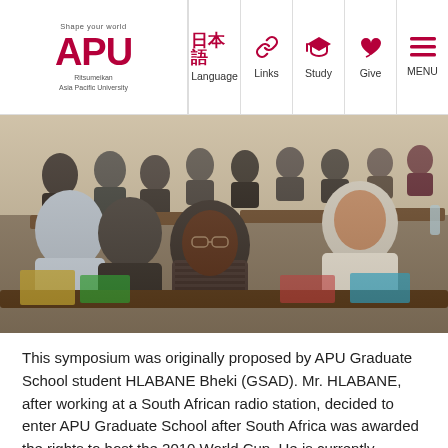Shape your world | APU | Ritsumeikan Asia Pacific University | Language | Links | Study | Give | MENU
[Figure (photo): People seated in classroom-style rows at brown desks, attending a symposium. Diverse group of students and attendees taking notes.]
This symposium was originally proposed by APU Graduate School student HLABANE Bheki (GSAD). Mr. HLABANE, after working at a South African radio station, decided to enter APU Graduate School after South Africa was awarded the rights to host the 2010 World Cup. He is currently researching the sociology behind mega sports events under the research theme of "The 2010 South African World Cup and its effects on international society"